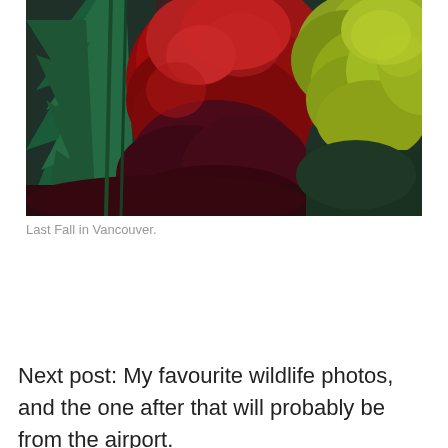[Figure (photo): Autumn forest scene in Vancouver showing vivid red Japanese maple trees contrasting with dark green conifers on the left and bright yellow-green deciduous trees on the right.]
Last Fall in Vancouver.
Next post: My favourite wildlife photos, and the one after that will probably be from the airport.